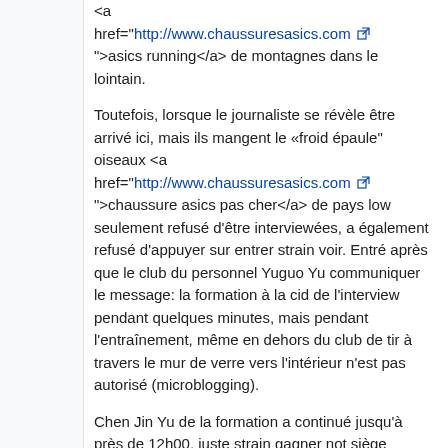<a href="http://www.chaussuresasics.com">asics running</a> de montagnes dans le lointain.
Toutefois, lorsque le journaliste se révèle être arrivé ici, mais ils mangent le «froid épaule" oiseaux <a href="http://www.chaussuresasics.com">chaussure asics pas cher</a> de pays low seulement refusé d'être interviewées, a également refusé d'appuyer sur entrer strain voir. Entré après que le club du personnel Yuguo Yu communiquer le message: la formation à la cid de l'interview pendant quelques minutes, mais pendant l'entraînement, même en dehors du club de tir à travers le mur de verre vers l'intérieur n'est pas autorisé (microblogging).
Chen Jin Yu de la formation a continué jusqu'à près de 12h00, juste strain gagner not siège course olympique, premier sorti de la salle de gym, chaise de loisirs assis à l'extérieur du club strain profiter de la beauté des paysages.